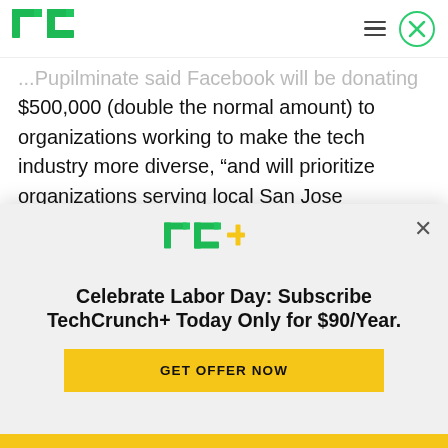TechCrunch logo and navigation bar
...Pupilminate said Facebook will be donating $500,000 (double the normal amount) to organizations working to make the tech industry more diverse, “and will prioritize organizations serving local San Jose residents.” He also noted that Facebook normally hosts local students as part of F8, so this year it will be providing them with “an F8-inspired experience” instead.
[Figure (logo): TechCrunch+ logo (TC+ in green and yellow)]
Celebrate Labor Day: Subscribe TechCrunch+ Today Only for $90/Year.
GET OFFER NOW